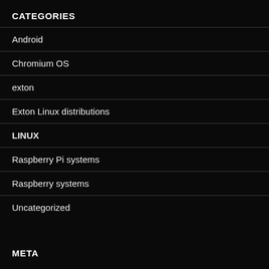CATEGORIES
Android
Chromium OS
exton
Exton Linux distributions
LINUX
Raspberry Pi systems
Raspberry systems
Uncategorized
META